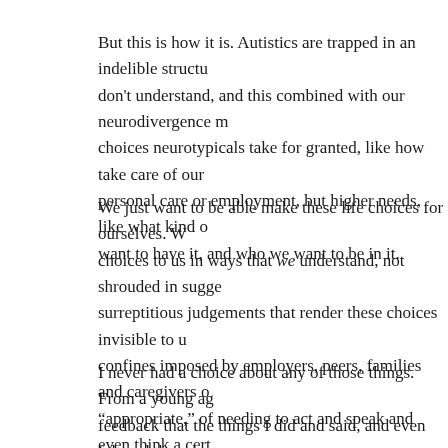But this is how it is. Autistics are trapped in an indelible structu don't understand, and this combined with our neurodivergence choices neurotypicals take for granted, like how take care of ou personal care or employment, but higher needs, like what kind want to have it, and who we want to be in it.
We just want to be able make these life choices for ourselves. W choices to us in ways that we understand, not shrouded in sugg surreptitious judgements that render these choices invisible to u confines imposed by employers, peers, families and caregivers “appropriate,” of needing to act and speak and even think a cer autistic people, so we can work with them, so we can have relat
I never had a choice about any of those things. From a young ag feedback that the things I did and said, and even felt and though craved validating experiences that I created a completely opaqu every natural thing about me, and made sure I was useful in so relationship with so they couldn’t stop speaking to me, or shut